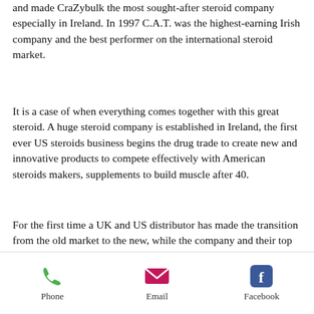and made CraZybulk the most sought-after steroid company especially in Ireland. In 1997 C.A.T. was the highest-earning Irish company and the best performer on the international steroid market.
It is a case of when everything comes together with this great steroid. A huge steroid company is established in Ireland, the first ever US steroids business begins the drug trade to create new and innovative products to compete effectively with American steroids makers, supplements to build muscle after 40.
For the first time a UK and US distributor has made the transition from the old market to the new, while the company and their top team are doing the same in the USA. This is
Phone  Email  Facebook